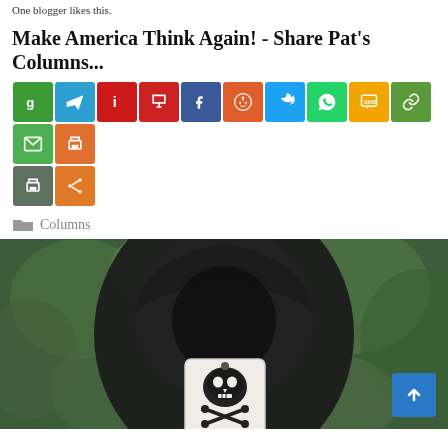One blogger likes this.
Make America Think Again! - Share Pat's Columns...
[Figure (infographic): Row of social sharing icon buttons: Google, Telegram, Instapaper, Parler, Facebook, Reddit, Twitter, WhatsApp, SMS, Copy Link, Email, Print, Print, Share More]
Columns
[Figure (photo): A hooded figure in dark clothing holding up a playing card featuring a skull and crossbones, set against a blurred green foliage background]